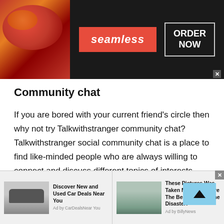[Figure (infographic): Seamless food ordering advertisement banner with pizza image on left, red Seamless logo badge in center, and 'ORDER NOW' box on right against dark background]
Community chat
If you are bored with your current friend's circle then why not try Talkwithstranger community chat? Talkwithstranger social community chat is a place to find like-minded people who are always willing to connect and discuss different topics of interests. Whether you want to talk about current affairs, share your marriage secret or recent movies, people from different countries are ready to listen to you. If
[Figure (infographic): Bottom ad strip with two advertisements: 'Discover New and Used Car Deals Near You' by CarDealsNearYou with car image, and 'These Pictures Was Taken Minutes Before The Beginning Of The Disaster!' by BillyNews with outdoor image]